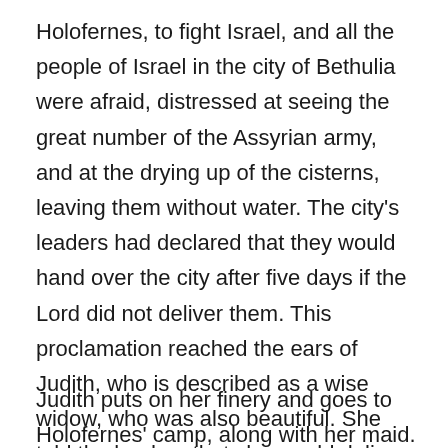Holofernes, to fight Israel, and all the people of Israel in the city of Bethulia were afraid, distressed at seeing the great number of the Assyrian army, and at the drying up of the cisterns, leaving them without water. The city's leaders had declared that they would hand over the city after five days if the Lord did not deliver them. This proclamation reached the ears of Judith, who is described as a wise widow, who was also beautiful. She told the leaders that she would deliver the city and they should not tempt God by placing a time limit on Him. The leaders acknowledged her wisdom and told her to go in peace with God to deliver the city.
Judith puts on her finery and goes to Holofernes' camp, along with her maid. There, she tells the Assyrians that she